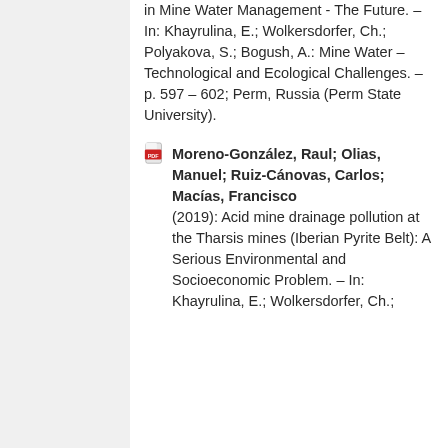in Mine Water Management - The Future. – In: Khayrulina, E.; Wolkersdorfer, Ch.; Polyakova, S.; Bogush, A.: Mine Water – Technological and Ecological Challenges. – p. 597 – 602; Perm, Russia (Perm State University).
Moreno-González, Raul; Olias, Manuel; Ruiz-Cánovas, Carlos; Macías, Francisco (2019): Acid mine drainage pollution at the Tharsis mines (Iberian Pyrite Belt): A Serious Environmental and Socioeconomic Problem. – In: Khayrulina, E.; Wolkersdorfer, Ch.;